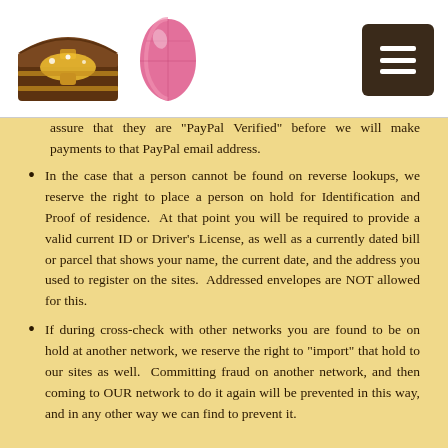[Logo: treasure chest and pink gemstone, menu button]
assure that they are "PayPal Verified" before we will make payments to that PayPal email address.
In the case that a person cannot be found on reverse lookups, we reserve the right to place a person on hold for Identification and Proof of residence.  At that point you will be required to provide a valid current ID or Driver's License, as well as a currently dated bill or parcel that shows your name, the current date, and the address you used to register on the sites.  Addressed envelopes are NOT allowed for this.
If during cross-check with other networks you are found to be on hold at another network, we reserve the right to "import" that hold to our sites as well.  Committing fraud on another network, and then coming to OUR network to do it again will be prevented in this way, and in any other way we can find to prevent it.